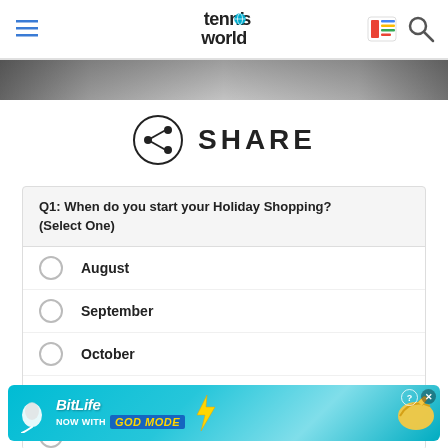tennis world
[Figure (screenshot): Tennis World website header with hamburger menu icon on left, tennis world logo in center, Google News and search icons on right]
[Figure (photo): Black and white banner photo strip]
[Figure (illustration): Share icon (circle with share symbol) next to SHARE text]
SHARE
Q1: When do you start your Holiday Shopping? (Select One)
August
September
October
November
December
[Figure (screenshot): BitLife advertisement banner - NOW WITH GOD MODE]